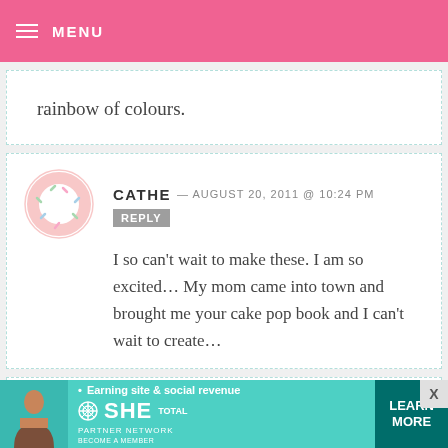MENU
rainbow of colours.
CATHE — AUGUST 20, 2011 @ 10:24 PM  REPLY
I so can't wait to make these. I am so excited... My mom came into town and brought me your cake pop book and I can't wait to create...
KYLENE — AUGUST 20, 2011 @ 7:47 PM  REPLY
[Figure (infographic): SHE Partner Network advertisement banner with person photo, logo, and Learn More button]